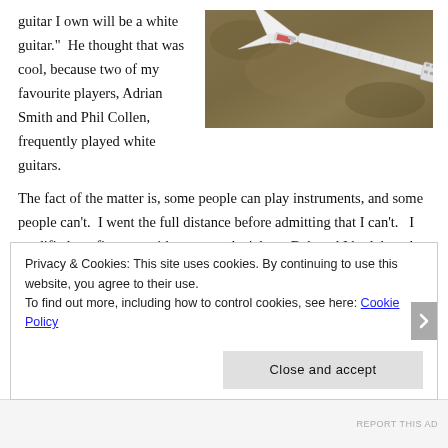guitar I own will be a white guitar.”  He thought that was cool, because two of my favourite players, Adrian Smith and Phil Collen, frequently played white guitars.
[Figure (photo): A white Flying V style electric guitar lying on a brown/khaki textured surface, viewed from above.]
The fact of the matter is, some people can play instruments, and some people can’t.  I went the full distance before admitting that I can’t.   I modified my first axe with some cool stickers. Bob and I both bought “super slinky” guitar strings thinking it would help us play fast.  For my guitar strap, I chose a cool faux-snakeskin thing.  (I didn’t want animal print — too 1984.)  I had an electronic tuner, a suitably heavy ancient tube amp with a reverb pedal, and a collection of
Privacy & Cookies: This site uses cookies. By continuing to use this website, you agree to their use.
To find out more, including how to control cookies, see here: Cookie Policy
Close and accept